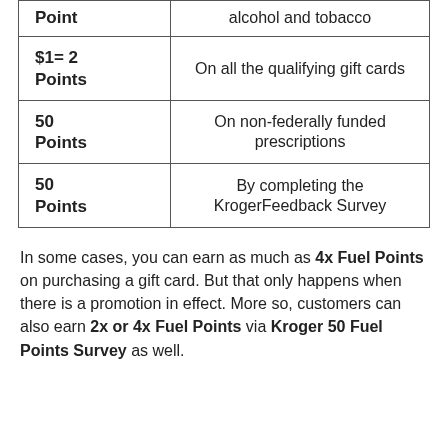|  |  |
| --- | --- |
| 1 Point | alcohol and tobacco |
| $1= 2 Points | On all the qualifying gift cards |
| 50 Points | On non-federally funded prescriptions |
| 50 Points | By completing the KrogerFeedback Survey |
In some cases, you can earn as much as 4x Fuel Points on purchasing a gift card. But that only happens when there is a promotion in effect. More so, customers can also earn 2x or 4x Fuel Points via Kroger 50 Fuel Points Survey as well.